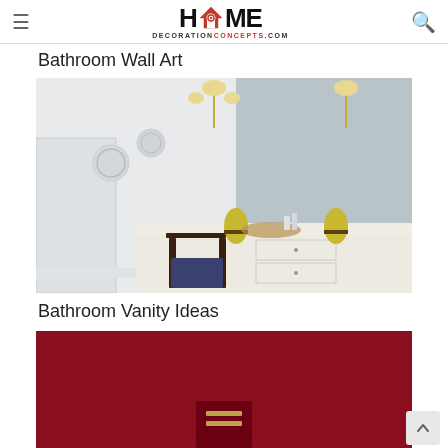HOME DECORATIONCONCEPTS.COM
Bathroom Wall Art
[Figure (photo): Elegant bathroom vanity with white cabinetry, a dark wooden chair with blue cushion, large mirror, crystal wall sconces, and colorful yellow vases on the countertop]
Bathroom Vanity Ideas
[Figure (photo): Partial view of a room with deep red/maroon walls, bottom portion visible]